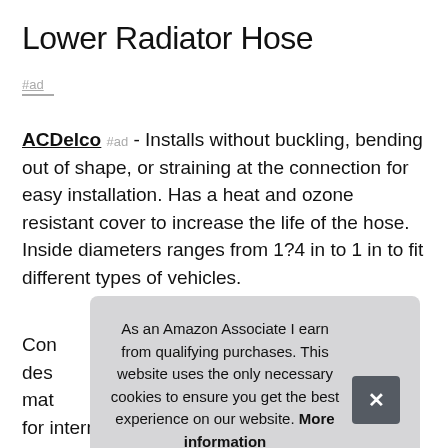Lower Radiator Hose
#ad
ACDelco #ad - Installs without buckling, bending out of shape, or straining at the connection for easy installation. Has a heat and ozone resistant cover to increase the life of the hose. Inside diameters ranges from 1?4 in to 1 in to fit different types of vehicles.
More information #ad
Con des mat for internal springs in many applications.
As an Amazon Associate I earn from qualifying purchases. This website uses the only necessary cookies to ensure you get the best experience on our website. More information